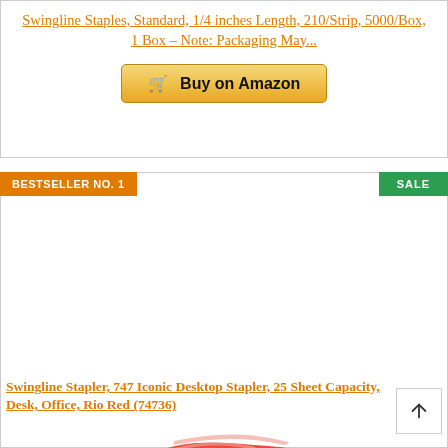Swingline Staples, Standard, 1/4 inches Length, 210/Strip, 5000/Box, 1 Box - Note: Packaging May...
[Figure (other): A golden Buy on Amazon button with a shopping cart icon]
[Figure (photo): Photo of a red Swingline 747 Iconic Desktop Stapler on a white background with BESTSELLER NO. 1 badge (orange) and SALE badge (green)]
Swingline Stapler, 747 Iconic Desktop Stapler, 25 Sheet Capacity, Desk, Office, Rio Red (74736)